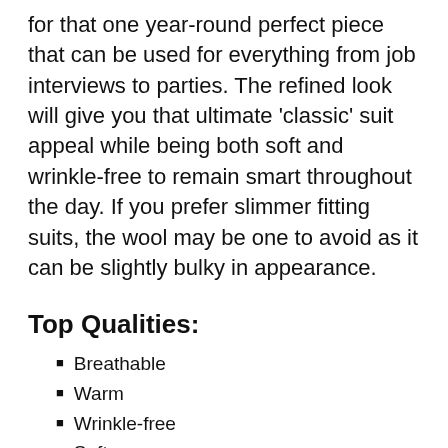for that one year-round perfect piece that can be used for everything from job interviews to parties. The refined look will give you that ultimate 'classic' suit appeal while being both soft and wrinkle-free to remain smart throughout the day. If you prefer slimmer fitting suits, the wool may be one to avoid as it can be slightly bulky in appearance.
Top Qualities:
Breathable
Warm
Wrinkle-free
Soft